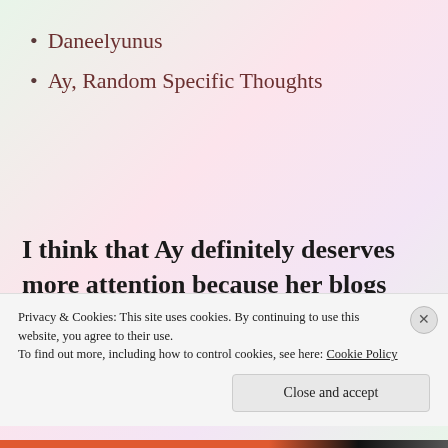Daneelyunus
Ay, Random Specific Thoughts
I think that Ay definitely deserves more attention because her blogs are not just creative but also
Privacy & Cookies: This site uses cookies. By continuing to use this website, you agree to their use.
To find out more, including how to control cookies, see here: Cookie Policy
Close and accept